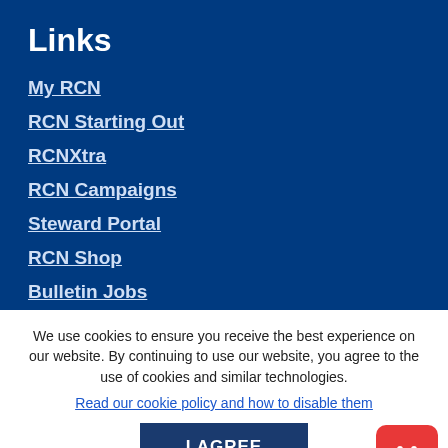Links
My RCN
RCN Starting Out
RCNXtra
RCN Campaigns
Steward Portal
RCN Shop
Bulletin Jobs
We use cookies to ensure you receive the best experience on our website. By continuing to use our website, you agree to the use of cookies and similar technologies.
Read our cookie policy and how to disable them
I AGREE